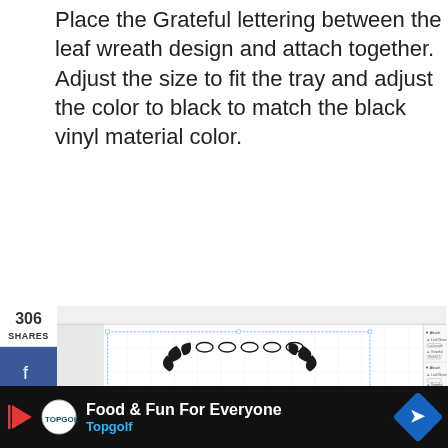Place the Grateful lettering between the leaf wreath design and attach together. Adjust the size to fit the tray and adjust the color to black to match the black vinyl material color.
[Figure (screenshot): Screenshot of a design software (Cricut Design Space) showing a 'grateful' lettering in cursive script surrounded by a leaf wreath design. The design is black on a white grid background. A layers panel is visible on the right side. Social share buttons (Facebook, Twitter, Pinterest, Mix) are on the left side with share counts (306 shares). A heart button shows 312 and a share button is visible.]
Food & Fun For Everyone Topgolf (advertisement bar)